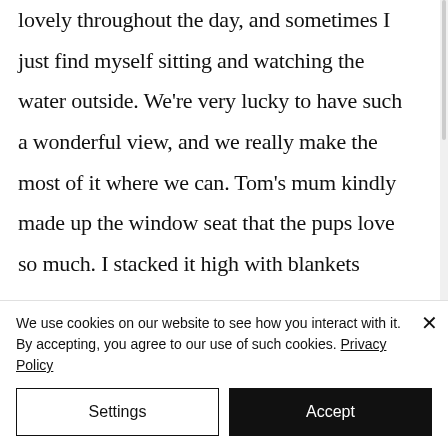lovely throughout the day, and sometimes I just find myself sitting and watching the water outside. We're very lucky to have such a wonderful view, and we really make the most of it where we can. Tom's mum kindly made up the window seat that the pups love so much. I stacked it high with blankets
We use cookies on our website to see how you interact with it. By accepting, you agree to our use of such cookies. Privacy Policy